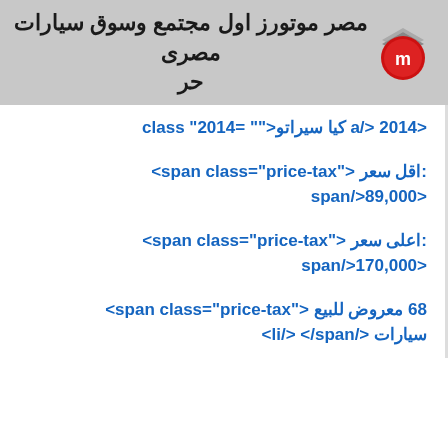مصر موتورز اول مجتمع وسوق سيارات مصرى حر
<a/> 2014 كيا سيراتو<""=class "2014
:اقل سعر<"price-tax"=span class>
<span/>89,000
:اعلى سعر<"price-tax"=span class>
<span/>170,000
68 معروض للبيع <"price-tax"=span class>
سيارات </li/> </span>